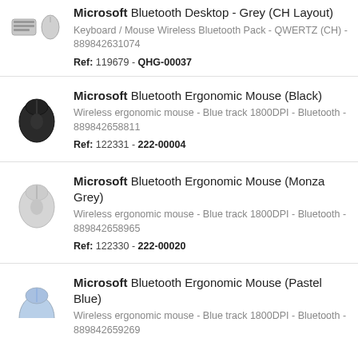[Figure (photo): Small keyboard and mouse product images (grey, partial view)]
Microsoft Bluetooth Desktop - Grey (CH Layout)
Keyboard / Mouse Wireless Bluetooth Pack - QWERTZ (CH) - 889842631074
Ref: 119679 - QHG-00037
[Figure (photo): Black Microsoft Bluetooth Ergonomic Mouse]
Microsoft Bluetooth Ergonomic Mouse (Black)
Wireless ergonomic mouse - Blue track 1800DPI - Bluetooth - 889842658811
Ref: 122331 - 222-00004
[Figure (photo): Monza Grey Microsoft Bluetooth Ergonomic Mouse]
Microsoft Bluetooth Ergonomic Mouse (Monza Grey)
Wireless ergonomic mouse - Blue track 1800DPI - Bluetooth - 889842658965
Ref: 122330 - 222-00020
[Figure (photo): Pastel Blue Microsoft Bluetooth Ergonomic Mouse (partial)]
Microsoft Bluetooth Ergonomic Mouse (Pastel Blue)
Wireless ergonomic mouse - Blue track 1800DPI - Bluetooth - 889842659269